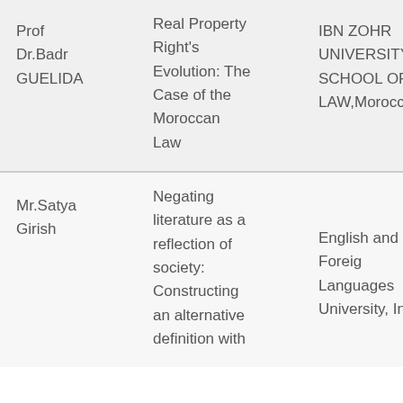| Author | Title | Institution |
| --- | --- | --- |
| Prof Dr.Badr GUELIDA | Real Property Right's Evolution: The Case of the Moroccan Law | IBN ZOHR UNIVERSITY SCHOOL OF LAW,Morocco |
| Mr.Satya Girish | Negating literature as a reflection of society: Constructing an alternative definition with | English and Foreign Languages University, India |